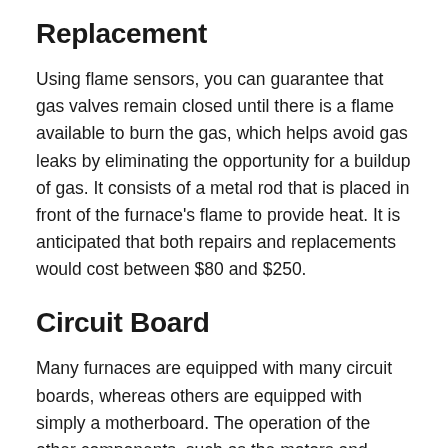Replacement
Using flame sensors, you can guarantee that gas valves remain closed until there is a flame available to burn the gas, which helps avoid gas leaks by eliminating the opportunity for a buildup of gas. It consists of a metal rod that is placed in front of the furnace's flame to provide heat. It is anticipated that both repairs and replacements would cost between $80 and $250.
Circuit Board
Many furnaces are equipped with many circuit boards, whereas others are equipped with simply a motherboard. The operation of the other components, such as the motors and sensors, is controlled by the circuit boards. The cost of